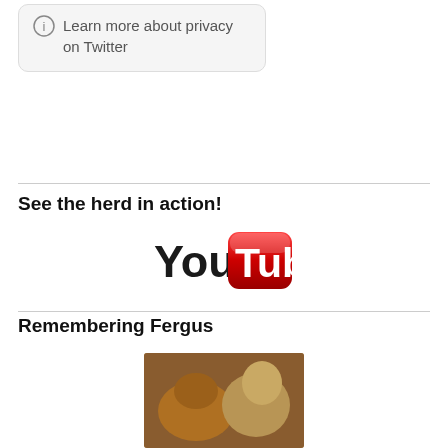ⓘ Learn more about privacy on Twitter
[Figure (logo): YouTube logo — 'You' in black text beside a red rounded-rectangle badge with white 'Tube' text]
See the herd in action!
Remembering Fergus
[Figure (photo): Close-up photo of dogs, appearing to show two dogs with golden/reddish and blonde/white fur, one appears to be sleeping or resting.]